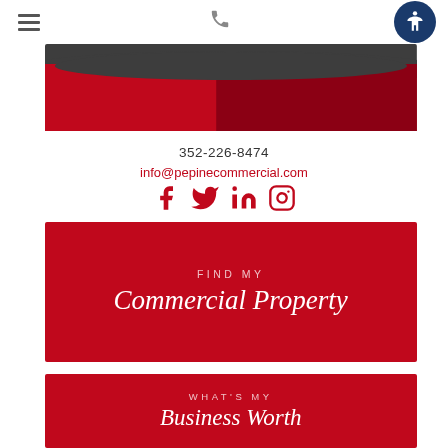Navigation header with hamburger menu, phone icon, and accessibility button
[Figure (illustration): Dark gray and red curved banner/header graphic]
352-226-8474
info@pepinecommercial.com
[Figure (infographic): Social media icons: Facebook, Twitter, LinkedIn, Instagram in red]
FIND MY
Commercial Property
WHAT'S MY
Business Worth